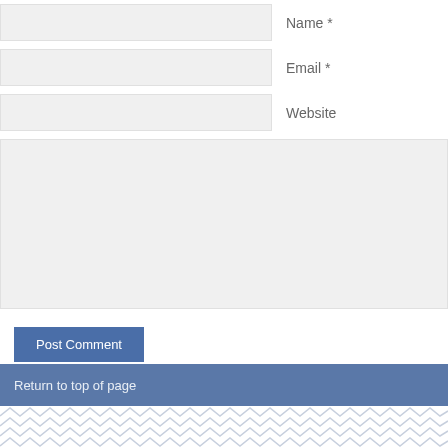Name *
Email *
Website
Post Comment
commentluv
Return to top of page